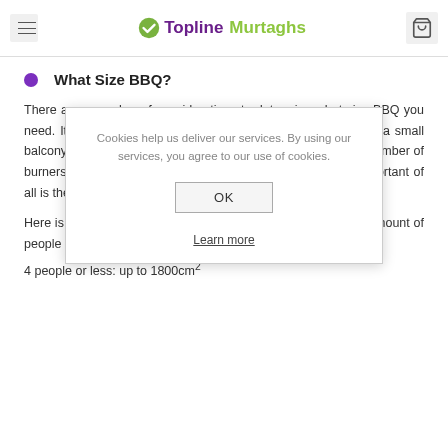Topline Murtaghs
What Size BBQ?
There are a number of considerations to determine what size BBQ you need. It includes the physical size of the BBQ itself - great for a small balcony but not a huge garden for example. There is also the number of burners and warming racks it contains. And possibly most important of all is the size of the actual cooking area, i.e., the grill.
Cookies help us deliver our services. By using our services, you agree to our use of cookies.
OK
Learn more
Here is our general guide to cooking area sizes based on the amount of people you will be cooking for:
4 people or less: up to 1800cm²